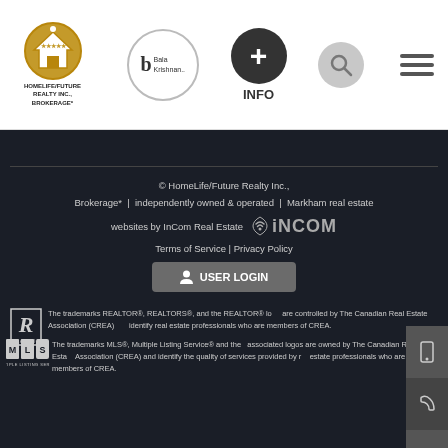[Figure (logo): HomeLife/Future Realty Inc., Brokerage logo with gold circle and house icon]
[Figure (logo): Bala Krishnan agent profile circle logo with stylized b]
[Figure (logo): Dark circle with + sign and INFO label below]
[Figure (logo): Search icon grey circle]
[Figure (logo): Hamburger menu three lines]
© HomeLife/Future Realty Inc., Brokerage* | independently owned & operated | Markham real estate
websites by InCom Real Estate
[Figure (logo): InCom Real Estate logo with wifi signal icon]
Terms of Service | Privacy Policy
USER LOGIN
The trademarks REALTOR®, REALTORS®, and the REALTOR® logo are controlled by The Canadian Real Estate Association (CREA) and identify real estate professionals who are members of CREA.
[Figure (logo): REALTOR R logo block]
The trademarks MLS®, Multiple Listing Service® and the associated logos are owned by The Canadian Real Estate Association (CREA) and identify the quality of services provided by real estate professionals who are members of CREA.
[Figure (logo): MLS Multiple Listing Service logo]